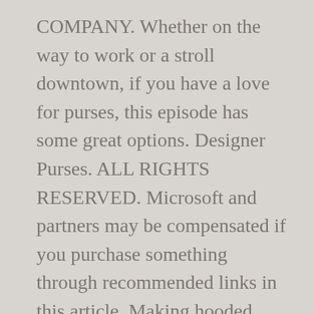COMPANY. Whether on the way to work or a stroll downtown, if you have a love for purses, this episode has some great options. Designer Purses. ALL RIGHTS RESERVED. Microsoft and partners may be compensated if you purchase something through recommended links in this article. Making hooded scarves for the cold season; Learning the Technique Corner. "Knit and Crochet Now" features a rotating cast of top designers who demonstrate some of the most popular techniques for creating knitting projects that include lace, purses, felting and socks. website > episode / view more episodes. Pattern access requires membership.. Knit and Crochet Now! Dianne